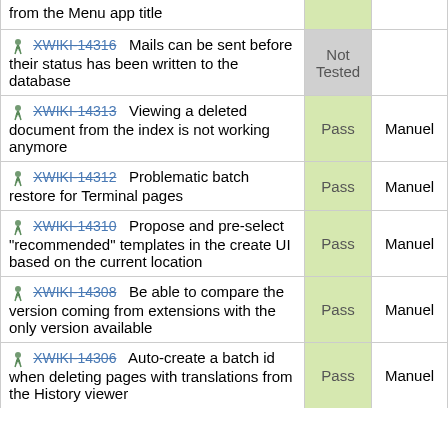| Issue | Status | Tester |
| --- | --- | --- |
| from the Menu app title |  |  |
| XWIKI-14316  Mails can be sent before their status has been written to the database | Not Tested |  |
| XWIKI-14313  Viewing a deleted document from the index is not working anymore | Pass | Manuel |
| XWIKI-14312  Problematic batch restore for Terminal pages | Pass | Manuel |
| XWIKI-14310  Propose and pre-select "recommended" templates in the create UI based on the current location | Pass | Manuel |
| XWIKI-14308  Be able to compare the version coming from extensions with the only version available | Pass | Manuel |
| XWIKI-14306  Auto-create a batch id when deleting pages with translations from the History viewer | Pass | Manuel |